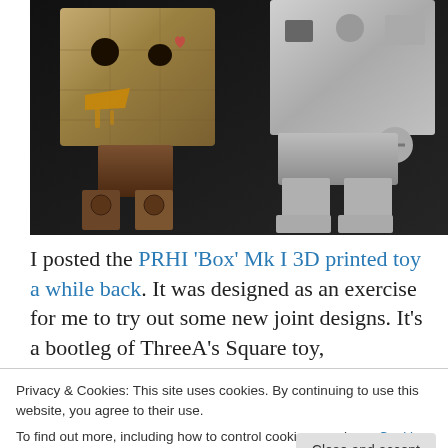[Figure (photo): Two toy figurines on a dark background. Left figure is a weathered, stone-textured cube-shaped character with golden elements and rustic details. Right figure is a smooth gray robot-like square character. Both have cube-shaped heads and blocky bodies with legs.]
I posted the PRHI 'Box' Mk I 3D printed toy a while back.  It was designed as an exercise for me to try out some new joint designs.  It's a bootleg of ThreeA's Square toy,
Privacy & Cookies: This site uses cookies. By continuing to use this website, you agree to their use.
To find out more, including how to control cookies, see here: Cookie Policy
Close and accept